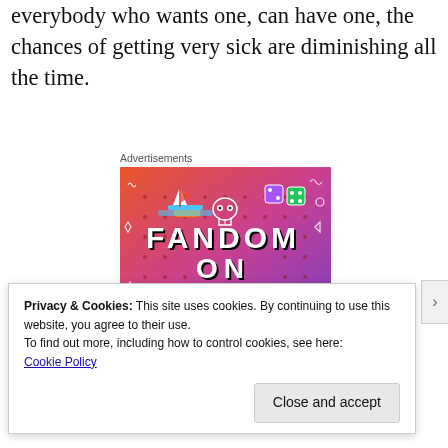everybody who wants one, can have one, the chances of getting very sick are diminishing all the time.
Advertisements
[Figure (illustration): Fandom on Tumblr advertisement banner with colorful gradient background (orange to purple) featuring doodles, a sailboat sticker, skull, dice, and bold text reading 'FANDOM ON tumblr']
Privacy & Cookies: This site uses cookies. By continuing to use this website, you agree to their use.
To find out more, including how to control cookies, see here:
Cookie Policy
Close and accept